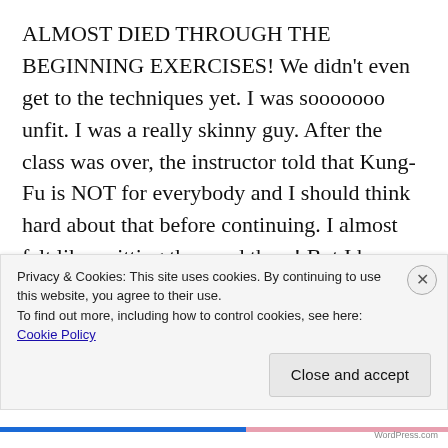ALMOST DIED THROUGH THE BEGINNING EXERCISES! We didn't even get to the techniques yet. I was sooooooo unfit. I was a really skinny guy. After the class was over, the instructor told that Kung-Fu is NOT for everybody and I should think hard about that before continuing. I almost felt like quitting then and there! But I knew that if I didn't come the next week, I wouldn't come back at all. I continued to come every week, religiously, for the next 3 1/2 years. I eventually became a junior instructor before I graduated from
Privacy & Cookies: This site uses cookies. By continuing to use this website, you agree to their use.
To find out more, including how to control cookies, see here: Cookie Policy
Close and accept